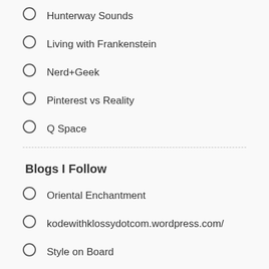Hunterway Sounds
Living with Frankenstein
Nerd+Geek
Pinterest vs Reality
Q Space
Blogs I Follow
Oriental Enchantment
kodewithklossydotcom.wordpress.com/
Style on Board
SQUARE PORTAL
StyleCaster
Coffee & Cashmere